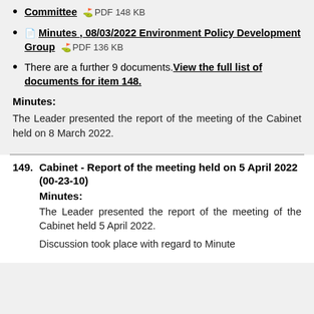Committee  PDF 148 KB
Minutes , 08/03/2022 Environment Policy Development Group  PDF 136 KB
There are a further 9 documents.View the full list of documents for item 148.
Minutes:
The Leader presented the report of the meeting of the Cabinet held on 8 March 2022.
149. Cabinet - Report of the meeting held on 5 April 2022 (00-23-10)
Minutes:
The Leader presented the report of the meeting of the Cabinet held 5 April 2022.
Discussion took place with regard to Minute 134 and the contract arrangements for 5 Ri...